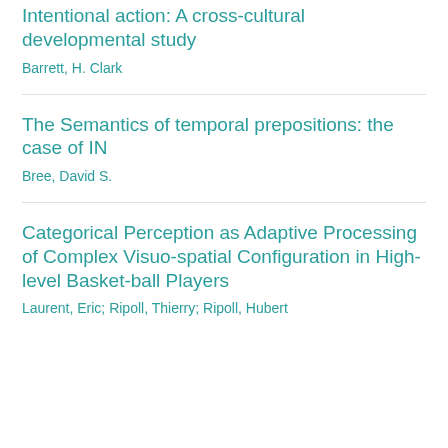Intentional action: A cross-cultural developmental study
Barrett, H. Clark
The Semantics of temporal prepositions: the case of IN
Bree, David S.
Categorical Perception as Adaptive Processing of Complex Visuo-spatial Configuration in High-level Basket-ball Players
Laurent, Eric;  Ripoll, Thierry;  Ripoll, Hubert